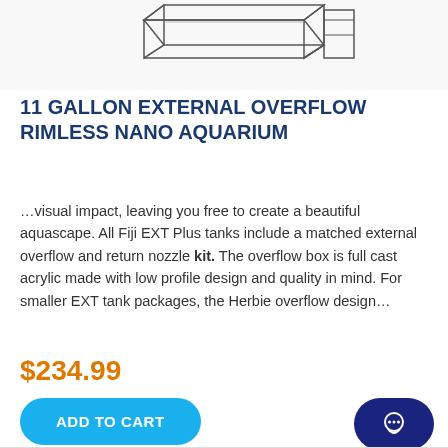[Figure (illustration): Partial view of a rimless aquarium tank with external overflow box, shown at an angle from above. Line drawing style product illustration.]
11 GALLON EXTERNAL OVERFLOW RIMLESS NANO AQUARIUM
…visual impact, leaving you free to create a beautiful aquascape. All Fiji EXT Plus tanks include a matched external overflow and return nozzle kit. The overflow box is full cast acrylic made with low profile design and quality in mind. For smaller EXT tank packages, the Herbie overflow design…
$234.99